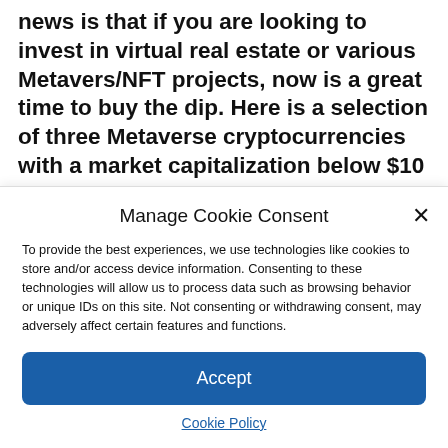market conditions feel tough, the good news is that if you are looking to invest in virtual real estate or various Metavers/NFT projects, now is a great time to buy the dip. Here is a selection of three Metaverse cryptocurrencies with a market capitalization below $10 million to watch in June.
Manage Cookie Consent
To provide the best experiences, we use technologies like cookies to store and/or access device information. Consenting to these technologies will allow us to process data such as browsing behavior or unique IDs on this site. Not consenting or withdrawing consent, may adversely affect certain features and functions.
Accept
Cookie Policy